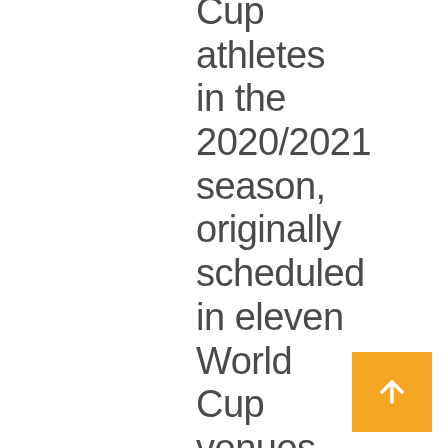Cup athletes in the 2020/2021 season, originally scheduled in eleven World Cup venues, but at the end of September, the IBU decided to make
[Figure (other): Orange square button with a white upward-pointing arrow, used as a scroll-to-top navigation element]